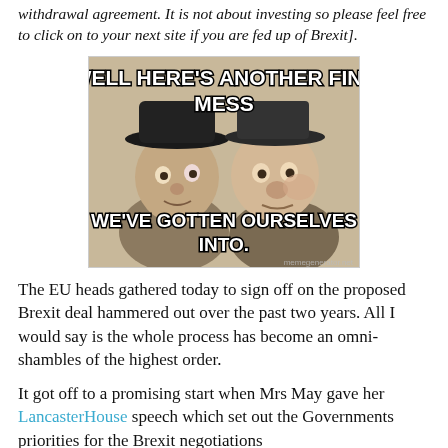withdrawal agreement. It is not about investing so please feel free to click on to your next site if you are fed up of Brexit].
[Figure (photo): Laurel and Hardy meme with text: 'WELL HERE'S ANOTHER FINE MESS WE'VE GOTTEN OURSELVES INTO.']
The EU heads gathered today to sign off on the proposed Brexit deal hammered out over the past two years. All I would say is the whole process has become an omni-shambles of the highest order.
It got off to a promising start when Mrs May gave her LancasterHouse speech which set out the Governments priorities for the Brexit negotiations
The objectives were clear and well received - take